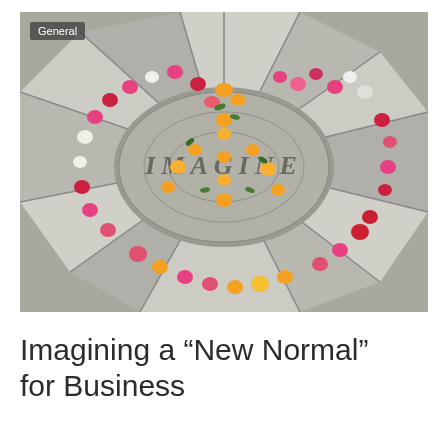[Figure (photo): Photograph of the Imagine mosaic memorial in Strawberry Fields, Central Park, covered with colorful flowers arranged in a circular pattern. The word IMAGINE is visible in the center of the circular mosaic. The mosaic features a black and white radial tile pattern. A 'General' category tag appears in the upper-left corner of the image.]
Imagining a “New Normal” for Business